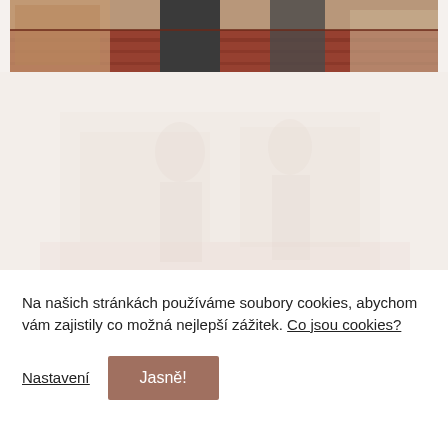[Figure (photo): Top portion of a photo showing two people standing on a decorative red rug with patterned furniture, partially cropped at top.]
[Figure (photo): Faded/ghosted background image of people in a room, very light and washed out.]
Na našich stránkách používáme soubory cookies, abychom vám zajistily co možná nejlepší zážitek. Co jsou cookies?
Nastavení
Jasně!